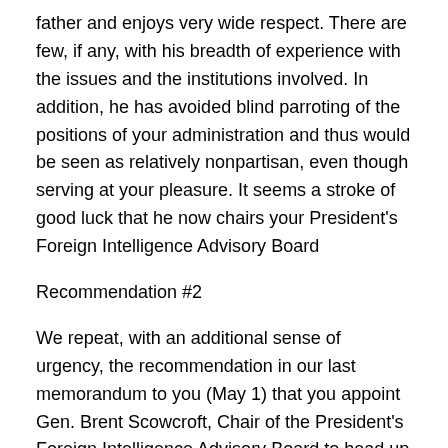father and enjoys very wide respect. There are few, if any, with his breadth of experience with the issues and the institutions involved. In addition, he has avoided blind parroting of the positions of your administration and thus would be seen as relatively nonpartisan, even though serving at your pleasure. It seems a stroke of good luck that he now chairs your President's Foreign Intelligence Advisory Board
Recommendation #2
We repeat, with an additional sense of urgency, the recommendation in our last memorandum to you (May 1) that you appoint Gen. Brent Scowcroft, Chair of the President's Foreign Intelligence Advisory Board to head up an independent investigation into the